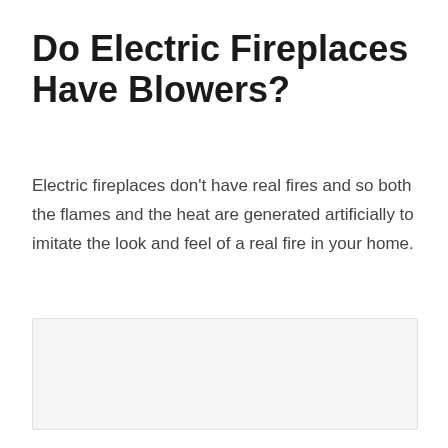Do Electric Fireplaces Have Blowers?
Electric fireplaces don't have real fires and so both the flames and the heat are generated artificially to imitate the look and feel of a real fire in your home.
[Figure (other): Placeholder image area with light gray background]